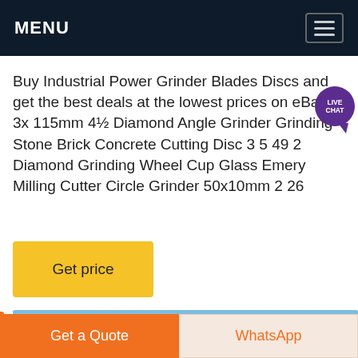MENU
Buy Industrial Power Grinder Blades Discs and get the best deals at the lowest prices on eBay! 3x 115mm 4½ Diamond Angle Grinder Grinding Stone Brick Concrete Cutting Disc 3 5 49 2 Diamond Grinding Wheel Cup Glass Emery Milling Cutter Circle Grinder 50x10mm 2 26
[Figure (illustration): Yellow 'Get price' button]
[Figure (photo): Landscape photo showing mountains against a blue sky, with a blue circle overlay in the upper right]
Get a Quote
WhatsApp